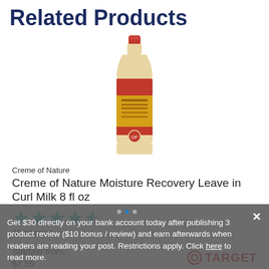Related Products
[Figure (photo): A bottle of Creme of Nature Moisture Recovery Leave in Curl Milk 8 fl oz product with a red cap and red/orange label]
Creme of Nature
Creme of Nature Moisture Recovery Leave in Curl Milk 8 fl oz
[Figure (other): 4.5 out of 5 stars rating shown as filled teal/cyan star icons]
41 reviews
Starting from:
$7.59
[Figure (logo): Target logo - red bullseye circle with TARGET text in red]
Get $30 directly on your bank account today after publishing 3 product review ($10 bonus / review) and earn afterwards when readers are reading your post. Restrictions apply. Click here to read more.